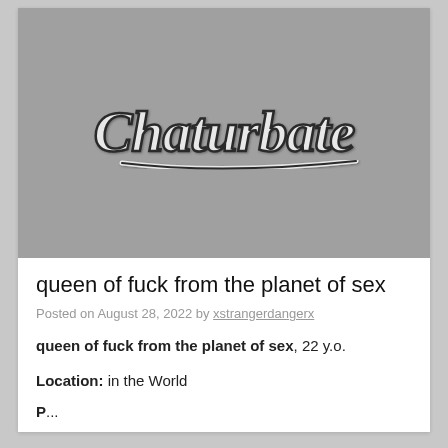[Figure (logo): Chaturbate logo in cursive script, gray/white coloring on a medium gray background]
queen of fuck from the planet of sex
Posted on August 28, 2022 by xstrangerdangerx
queen of fuck from the planet of sex, 22 y.o.
Location: in the World
P...